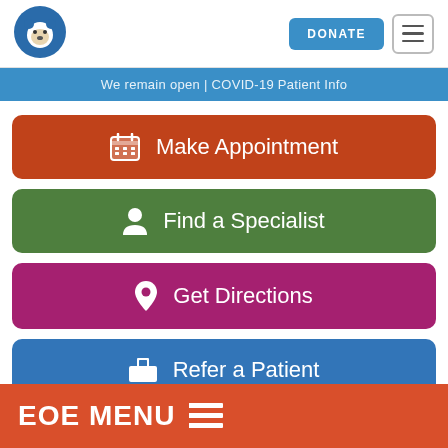[Figure (logo): Children's hospital bear logo in blue circle]
DONATE
We remain open | COVID-19 Patient Info
Make Appointment
Find a Specialist
Get Directions
Refer a Patient
EOE MENU